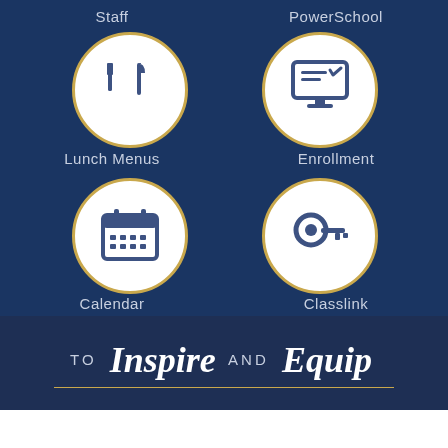[Figure (infographic): School website navigation infographic with dark navy background showing 4 icon buttons arranged in 2x2 grid: Staff, PowerSchool, Lunch Menus, Enrollment, Calendar, Classlink]
Staff
PowerSchool
Lunch Menus
Enrollment
Calendar
Classlink
TO Inspire AND Equip